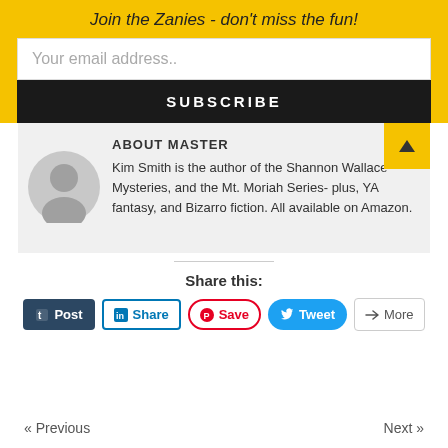Join the Zanies - don't miss the fun!
Your email address..
SUBSCRIBE
ABOUT MASTER
Kim Smith is the author of the Shannon Wallace Mysteries, and the Mt. Moriah Series- plus, YA fantasy, and Bizarro fiction. All available on Amazon.
Share this:
Post | Share | Save | Tweet | More
« Previous   Next »